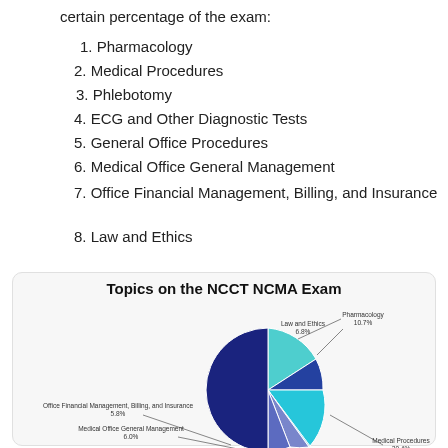certain percentage of the exam:
1. Pharmacology
2. Medical Procedures
3. Phlebotomy
4. ECG and Other Diagnostic Tests
5. General Office Procedures
6. Medical Office General Management
7. Office Financial Management, Billing, and Insurance
8. Law and Ethics
[Figure (pie-chart): Topics on the NCCT NCMA Exam]